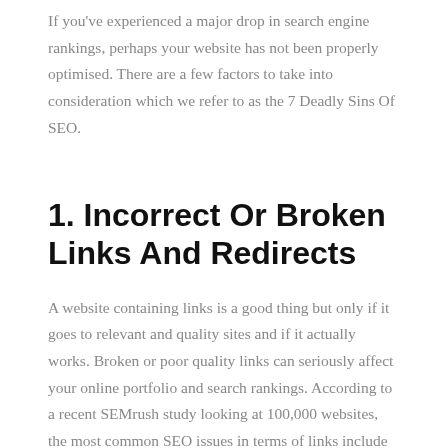If you've experienced a major drop in search engine rankings, perhaps your website has not been properly optimised. There are a few factors to take into consideration which we refer to as the 7 Deadly Sins Of SEO.
1. Incorrect Or Broken Links And Redirects
A website containing links is a good thing but only if it goes to relevant and quality sites and if it actually works. Broken or poor quality links can seriously affect your online portfolio and search rankings. According to a recent SEMrush study looking at 100,000 websites, the most common SEO issues in terms of links include the following:
Temporary redirects